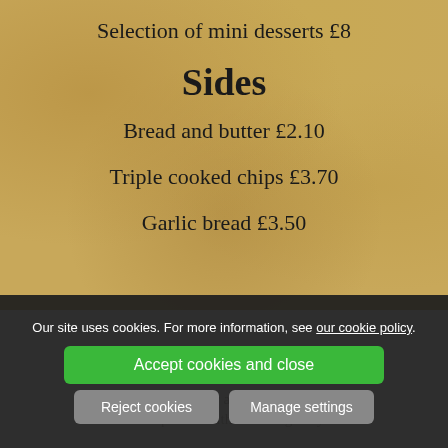Selection of mini desserts £8
Sides
Bread and butter £2.10
Triple cooked chips £3.70
Garlic bread £3.50
Our site uses cookies. For more information, see our cookie policy.
Accept cookies and close
Reject cookies
Manage settings